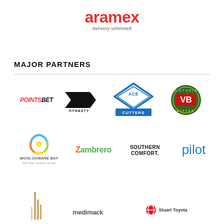[Figure (logo): Aramex logo — red wordmark 'aramex' with tagline 'delivery unlimited']
MAJOR PARTNERS
[Figure (logo): PointsBet logo — red italic POINTS, black italic BET]
[Figure (logo): Dynasty logo — black angular double arrow with DYNASTY text]
[Figure (logo): Ace Cutters logo — blue diamond shape with ACE CUTTERS text]
[Figure (logo): Victoria Bitter VB logo — green circular badge with VB in red/white]
[Figure (logo): Woolooware Bay logo — circular icon with WOOLOOWARE BAY text and tagline]
[Figure (logo): Zambrero logo — green text with red Z]
[Figure (logo): Southern Comfort logo — black bold uppercase text]
[Figure (logo): Pilot logo — blue lowercase text]
[Figure (logo): Partial logo — architectural building icon (partially visible)]
[Figure (logo): Medimack logo — partially visible]
[Figure (logo): Toyota / Stuart Toyota logo — partially visible]